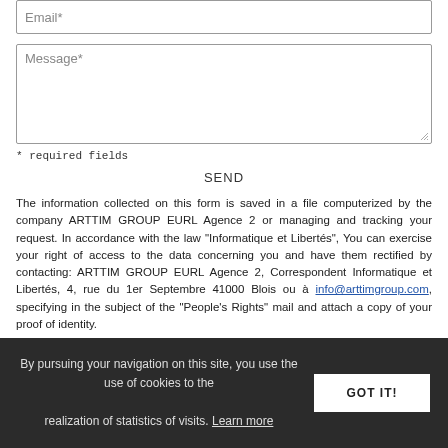Email*
Message*
* required fields
SEND
The information collected on this form is saved in a file computerized by the company ARTTIM GROUP EURL Agence 2 or managing and tracking your request. In accordance with the law "Informatique et Libertés", You can exercise your right of access to the data concerning you and have them rectified by contacting: ARTTIM GROUP EURL Agence 2, Correspondent Informatique et Libertés, 4, rue du 1er Septembre 41000 Blois ou à info@arttimgroup.com, specifying in the subject of the "People's Rights" mail and attach a copy of your proof of identity.
By pursuing your navigation on this site, you use the use of cookies to the realization of statistics of visits. Learn more GOT IT!